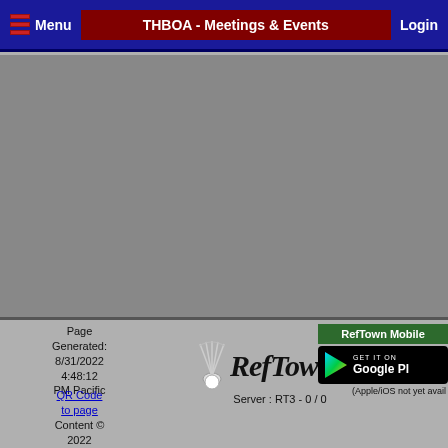Menu | THBOA - Meetings & Events | Login
[Figure (screenshot): Gray content area, empty]
Page Generated: 8/31/2022 4:48:12 PM Pacific
QR Code to page
Content © 2022 THBOA Design © 2003-2022 Camron Rust / RefTown
[Figure (logo): RefTown logo with shuttlecock and stylized RefTown text. Server: RT3 - 0 / 0]
RefTown Mobile
[Figure (other): Get it on Google Play badge]
(Apple/iOS not yet avail